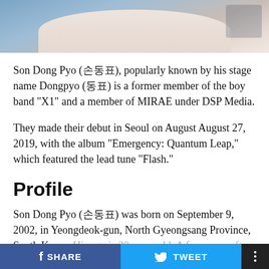[Figure (photo): Top portion of a photo showing a person, cropped to show only the upper body/background area]
Son Dong Pyo (손동표), popularly known by his stage name Dongpyo (동표) is a former member of the boy band "X1" and a member of MIRAE under DSP Media.
They made their debut in Seoul on August August 27, 2019, with the album "Emergency: Quantum Leap," which featured the lead tune "Flash."
Profile
Son Dong Pyo (손동표) was born on September 9, 2002, in Yeongdeok-gun, North Gyeongsang Province, South Korea. His age is 20 years old. A few years after his birth, his parents moved to Pohang, a nearby town. His zodiac sign is Virgo.
SHARE   TWEET